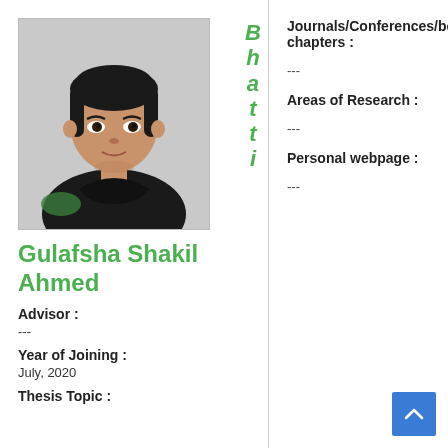[Figure (photo): Headshot photo of Gulafsha Shakil Ahmed, a young woman with black hair, wearing a black outfit, photographed against a light background.]
Gulafsha Shakil Ahmed
Advisor :
---
Year of Joining :
July, 2020
Thesis Topic :
Bhatti
Journals/Conferences/books/book chapters :
---
Areas of Research :
---
Personal webpage :
---